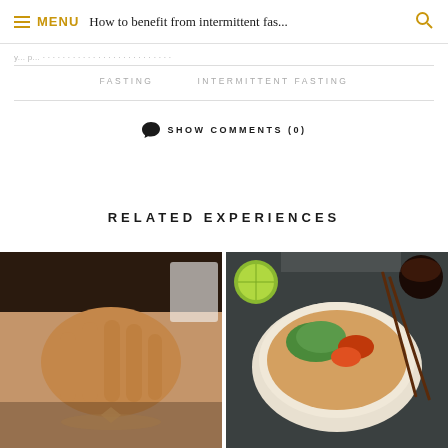≡ MENU   How to benefit from intermittent fas...   🔍
y...p...t...c...t...c...e...
FASTING   INTERMITTENT FASTING
💬 SHOW COMMENTS (0)
RELATED EXPERIENCES
[Figure (photo): Person with hand covering face, wearing a necklace with a geometric pendant]
[Figure (photo): Bowl of food with vegetables, noodles, and chopsticks, with lime slices]